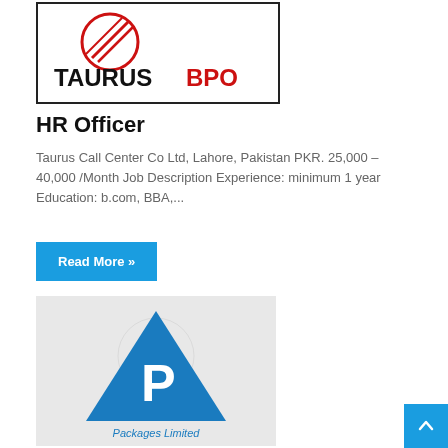[Figure (logo): Taurus BPO logo — red circle with diagonal lines above bold text reading TAURUS BPO in black and red]
HR Officer
Taurus Call Center Co Ltd, Lahore, Pakistan PKR. 25,000 – 40,000 /Month Job Description Experience: minimum 1 year  Education: b.com, BBA,...
Read More »
[Figure (logo): Packages Limited logo — blue triangle with letter P inside and text 'Packages Limited' below, on a light grey background]